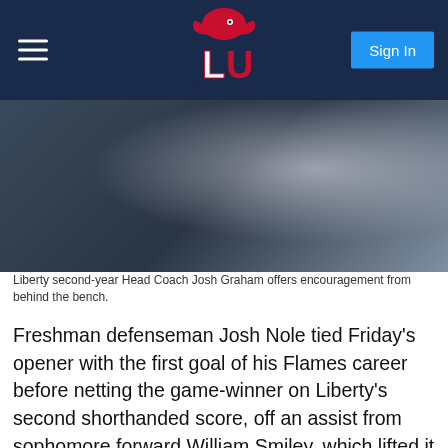LU | Sign In
[Figure (photo): Liberty second-year Head Coach Josh Graham offering encouragement from behind the bench, wearing a navy jacket, with a player in a white Liberty Flames jersey visible to the left.]
Liberty second-year Head Coach Josh Graham offers encouragement from behind the bench.
Freshman defenseman Josh Nole tied Friday's opener with the first goal of his Flames career before netting the game-winner on Liberty's second shorthanded score, off an assist from sophomore forward William Smiley, which lifted it to a 2-1 lead against Charleston. Junior wing Kenny Fogarty had netted the first shorthanded goal, after making a second steal in the defensive end, knotting the contest at 1-1, before adding three more goals in the third